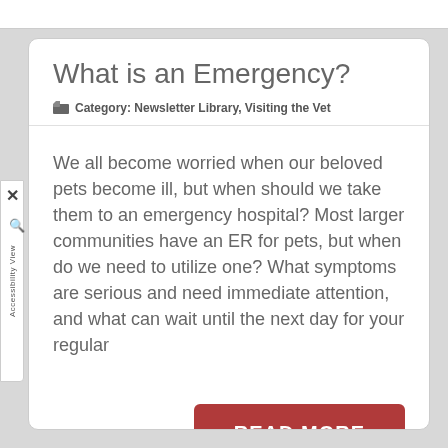What is an Emergency?
Category: Newsletter Library, Visiting the Vet
We all become worried when our beloved pets become ill, but when should we take them to an emergency hospital? Most larger communities have an ER for pets, but when do we need to utilize one? What symptoms are serious and need immediate attention, and what can wait until the next day for your regular
READ MORE